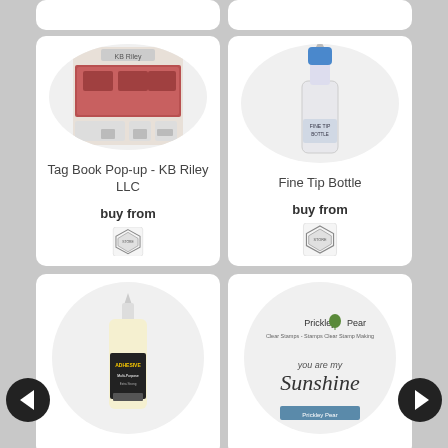[Figure (photo): Product card: Tag Book Pop-up - KB Riley LLC, showing a craft die-cut set package with a circular white background]
Tag Book Pop-up - KB Riley LLC
buy from
[Figure (logo): Store badge/logo (diamond shape icon)]
[Figure (photo): Product card: Fine Tip Bottle, showing a small white bottle with blue cap on circular white background]
Fine Tip Bottle
buy from
[Figure (logo): Store badge/logo (diamond shape icon)]
[Figure (photo): Product card: adhesive bottle, partially visible, on circular white background]
[Figure (photo): Product card: Prickley Pear 'you are my Sunshine' stamp set, showing logo and stamp text on circular white background]